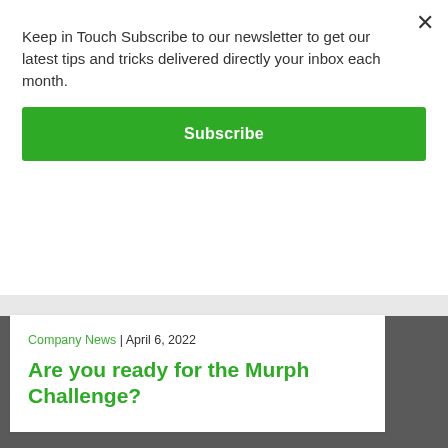Keep in Touch Subscribe to our newsletter to get our latest tips and tricks delivered directly your inbox each month.
Subscribe
Company News | April 6, 2022
Are you ready for the Murph Challenge?
About
Lydon Solutions is a WBE consulting group specializing in construction project management software solutions using